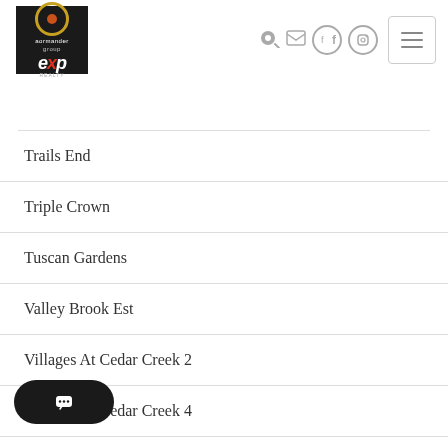eXp Realty - Navigation header with logo and icons
Trails End
Triple Crown
Tuscan Gardens
Valley Brook Est
Villages At Cedar Creek 2
Villages At Cedar Creek 4
...ove